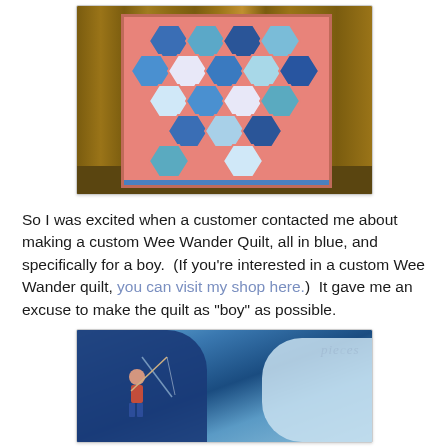[Figure (photo): Photo of a hexagon patchwork quilt with coral/salmon background and blue, teal, and white hexagon patches, hanging against a wooden fence outdoors.]
So I was excited when a customer contacted me about making a custom Wee Wander Quilt, all in blue, and specifically for a boy.  (If you're interested in a custom Wee Wander quilt, you can visit my shop here.)  It gave me an excuse to make the quilt as "boy" as possible.
[Figure (photo): Close-up photo of a blue quilt showing hexagon patches with fabric featuring a boy fishing scene and a whale, with watermark text 'pieces' visible.]